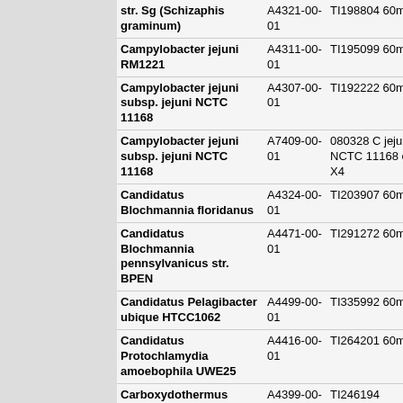| Organism | Array ID | Description | Size |
| --- | --- | --- | --- |
| str. Sg (Schizaphis graminum) | A4321-00-01 | TI198804 60mer | 385K |
| Campylobacter jejuni RM1221 | A4311-00-01 | TI195099 60mer | 385K |
| Campylobacter jejuni subsp. jejuni NCTC 11168 | A4307-00-01 | TI192222 60mer | 385K |
| Campylobacter jejuni subsp. jejuni NCTC 11168 | A7409-00-01 | 080328 C jejuni NCTC 11168 expr X4 | 4x72K |
| Candidatus Blochmannia floridanus | A4324-00-01 | TI203907 60mer | 385K |
| Candidatus Blochmannia pennsylvanicus str. BPEN | A4471-00-01 | TI291272 60mer | 385K |
| Candidatus Pelagibacter ubique HTCC1062 | A4499-00-01 | TI335992 60mer | 385K |
| Candidatus Protochlamydia amoebophila UWE25 | A4416-00-01 | TI264201 60mer | 385K |
| Carboxydothermus hydrogenoformans Z- | A4399-00-01 | TI246194 | 385K |